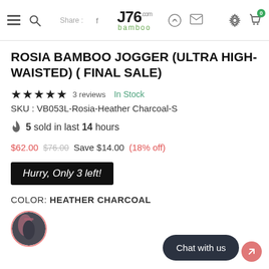Share : J76 Bamboo
ROSIA BAMBOO JOGGER (ULTRA HIGH-WAISTED) ( FINAL SALE)
★★★★★ 3 reviews   In Stock
SKU : VB053L-Rosia-Heather Charcoal-S
5 sold in last 14 hours
$62.00  $76.00  Save $14.00  (18% off)
Hurry, Only 3 left!
COLOR: HEATHER CHARCOAL
[Figure (photo): Circular color swatch showing dark charcoal jogger pants]
Chat with us